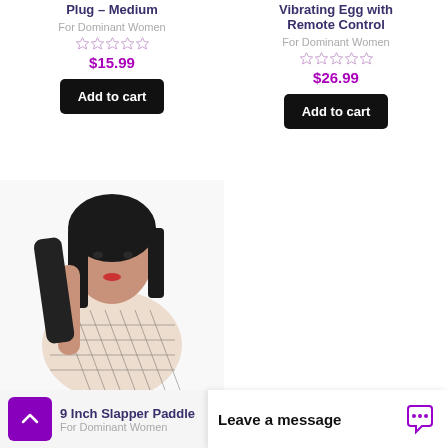Plug – Medium
For Dominant Women
$15.99
Add to cart
Vibrating Egg with Remote Control
For Dominant Women
$26.99
Add to cart
[Figure (photo): Woman with dark hair holding a slapper paddle, wearing fishnet top]
9 Inch Slapper Paddle
For Dominant Women
Leave a message